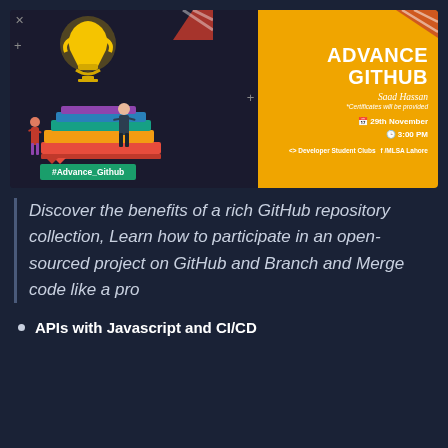[Figure (illustration): Advance GitHub event banner with dark background on left showing illustration of books stack with figures and trophy/lightbulb, and golden/amber background on right with title 'ADVANCE GITHUB', cursive name 'Saad Hassan', date '29th November', time '3:00 PM', Developer Student Clubs and MLSA Lahore logos]
Discover the benefits of a rich GitHub repository collection, Learn how to participate in an open-sourced project on GitHub and Branch and Merge code like a pro
APIs with Javascript and CI/CD